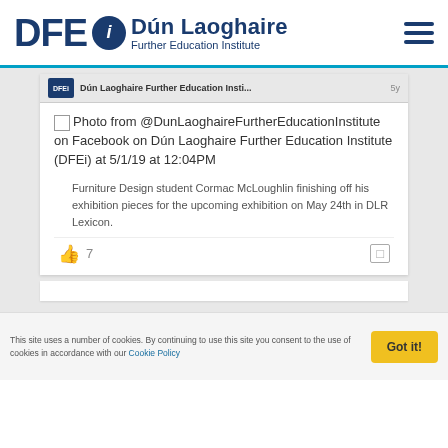[Figure (logo): DFEi - Dún Laoghaire Further Education Institute logo with circular icon and hamburger menu]
Dún Laoghaire Further Education Insti... 5y
Photo from @DunLaoghaireFurtherEducationInstitute on Facebook on Dún Laoghaire Further Education Institute (DFEi) at 5/1/19 at 12:04PM
Furniture Design student Cormac McLoughlin finishing off his exhibition pieces for the upcoming exhibition on May 24th in DLR Lexicon.
👍 7
This site uses a number of cookies. By continuing to use this site you consent to the use of cookies in accordance with our Cookie Policy